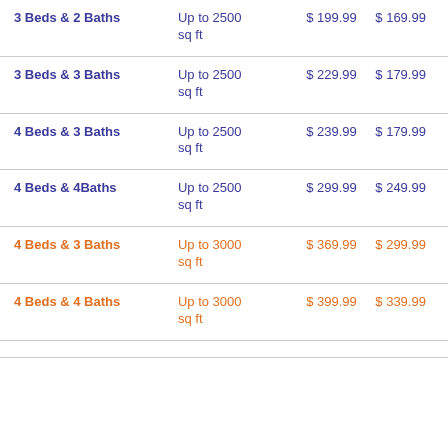| Type | Size | Price | Discounted Price |
| --- | --- | --- | --- |
| 3 Beds & 2 Baths | Up to 2500 sq ft | $ 199.99 | $ 169.99 |
| 3 Beds & 3 Baths | Up to 2500 sq ft | $ 229.99 | $ 179.99 |
| 4 Beds & 3 Baths | Up to 2500 sq ft | $ 239.99 | $ 179.99 |
| 4 Beds & 4Baths | Up to 2500 sq ft | $ 299.99 | $ 249.99 |
| 4 Beds & 3 Baths | Up to 3000 sq ft | $ 369.99 | $ 299.99 |
| 4 Beds & 4 Baths | Up to 3000 sq ft | $ 399.99 | $ 339.99 |